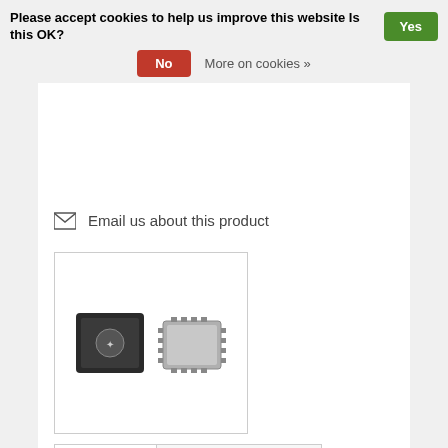Please accept cookies to help us improve this website Is this OK?
No
More on cookies »
Email us about this product
[Figure (photo): Two electronic components: a black chip module and a small QFN IC package]
Description
Features / Applications
Technical documentation